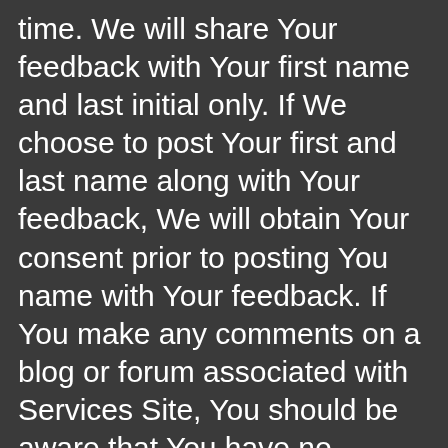time. We will share Your feedback with Your first name and last initial only. If We choose to post Your first and last name along with Your feedback, We will obtain Your consent prior to posting You name with Your feedback. If You make any comments on a blog or forum associated with Services Site, You should be aware that You have no reasonable expectation of privacy and that any Personal Data You submit there can be read, collected, or used by other users of these forums, and could be used to send You unsolicited messages. We are